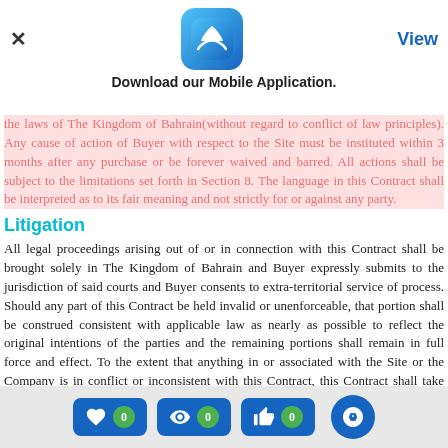[Figure (screenshot): App download banner with App Store icon, close button (X), app icon, 'View' link, and 'Download our Mobile Application.' label]
the laws of The Kingdom of Bahrain(without regard to conflict of law principles). Any cause of action of Buyer with respect to the Site must be instituted within 3 months after any purchase or be forever waived and barred. All actions shall be subject to the limitations set forth in Section 8. The language in this Contract shall be interpreted as to its fair meaning and not strictly for or against any party.
Litigation
All legal proceedings arising out of or in connection with this Contract shall be brought solely in The Kingdom of Bahrain and Buyer expressly submits to the jurisdiction of said courts and Buyer consents to extra-territorial service of process. Should any part of this Contract be held invalid or unenforceable, that portion shall be construed consistent with applicable law as nearly as possible to reflect the original intentions of the parties and the remaining portions shall remain in full force and effect. To the extent that anything in or associated with the Site or the Company is in conflict or inconsistent with this Contract, this Contract shall take precedence. Failure of Company to enforce any provision of this Contract shall not be deemed a waiver of such provision nor of the right to such provision.
[Figure (screenshot): Bottom toolbar with heart (0), eye (0), thumbs-up (0) action buttons and chat button]